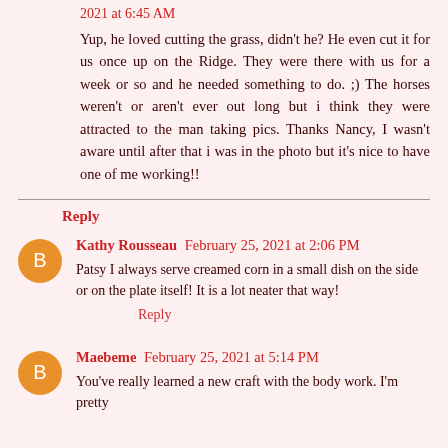2021 at 6:45 AM
Yup, he loved cutting the grass, didn't he? He even cut it for us once up on the Ridge. They were there with us for a week or so and he needed something to do. ;) The horses weren't or aren't ever out long but i think they were attracted to the man taking pics. Thanks Nancy, I wasn't aware until after that i was in the photo but it's nice to have one of me working!!
Reply
Kathy Rousseau  February 25, 2021 at 2:06 PM
Patsy I always serve creamed corn in a small dish on the side or on the plate itself! It is a lot neater that way!
Reply
Maebeme  February 25, 2021 at 5:14 PM
You've really learned a new craft with the body work. I'm pretty